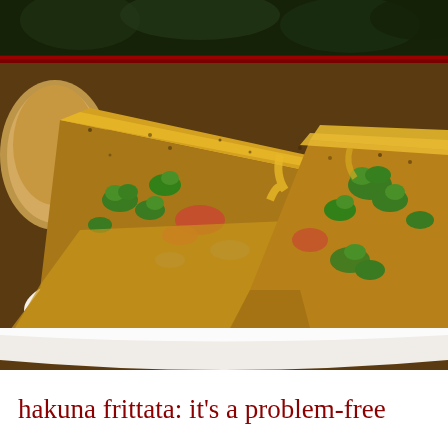[Figure (photo): Close-up photograph of a frittata slice on a white plate, showing layers of egg, broccoli, tomato, onion, and melted cheddar cheese on top. The frittata appears well-cooked with a golden-yellow egg exterior and green vegetable filling visible in cross-section.]
hakuna frittata: it's a problem-free